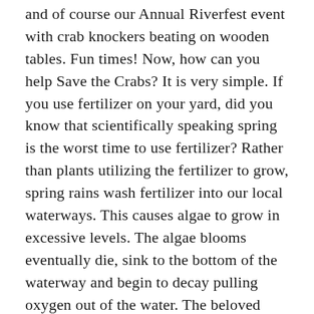and of course our Annual Riverfest event with crab knockers beating on wooden tables. Fun times! Now, how can you help Save the Crabs? It is very simple. If you use fertilizer on your yard, did you know that scientifically speaking spring is the worst time to use fertilizer? Rather than plants utilizing the fertilizer to grow, spring rains wash fertilizer into our local waterways. This causes algae to grow in excessive levels. The algae blooms eventually die, sink to the bottom of the waterway and begin to decay pulling oxygen out of the water. The beloved blue crabs, as well as delicious oysters and fish, need that oxygen to survive. Unfortunately, this is a major problem in the